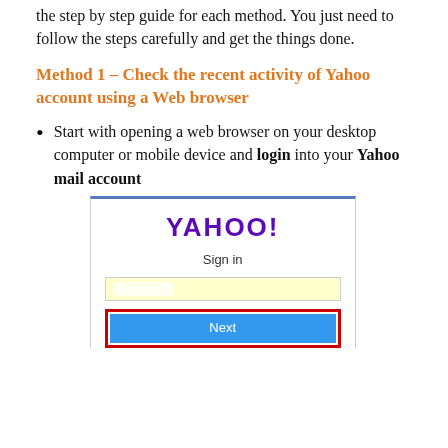the step by step guide for each method. You just need to follow the steps carefully and get the things done.
Method 1 – Check the recent activity of Yahoo account using a Web browser
Start with opening a web browser on your desktop computer or mobile device and login into your Yahoo mail account
[Figure (screenshot): Yahoo Sign in screen showing the Yahoo logo, Sign in label, a yellow input field, and a blue Next button with red border highlight]